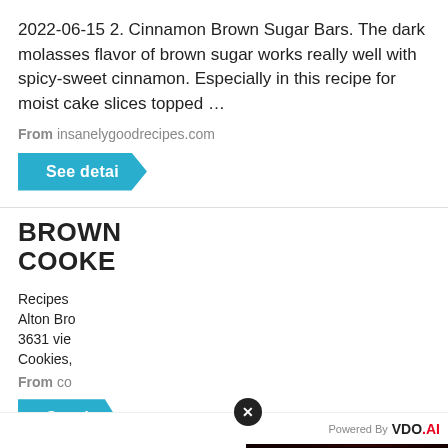2022-06-15 2. Cinnamon Brown Sugar Bars. The dark molasses flavor of brown sugar works really well with spicy-sweet cinnamon. Especially in this recipe for moist cake slices topped …
From insanelygoodrecipes.com
See detai
BROWN COOKE
Recipes
Alton Bro
3631 vie
Cookies,
From co
See d
[Figure (screenshot): Video ad overlay showing 'No compatible source was found for this media.' message with IMMUNE X SYSTEM HOW IT ACTUALLY WORKS title on dark red background. Powered by VDO.AI label in top right, close X button in top left of overlay.]